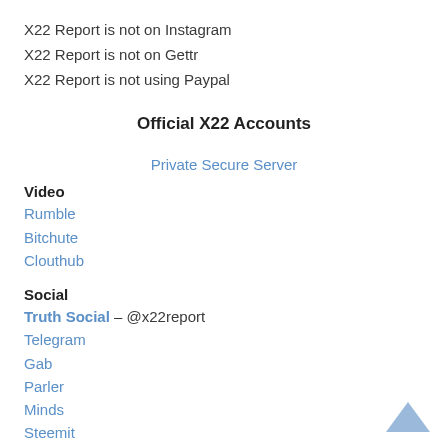X22 Report is not on Instagram
X22 Report is not on Gettr
X22 Report is not using Paypal
Official X22 Accounts
Private Secure Server
Video
Rumble
Bitchute
Clouthub
Social
Truth Social – @x22report
Telegram
Gab
Parler
Minds
Steemit